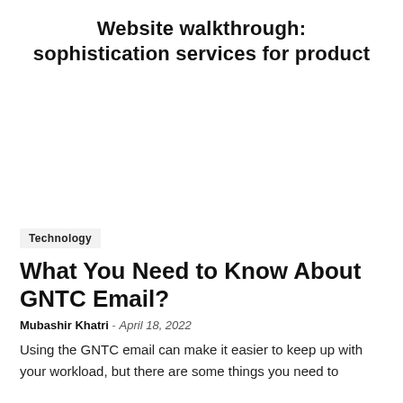Website walkthrough: sophistication services for product
Technology
What You Need to Know About GNTC Email?
Mubashir Khatri – April 18, 2022
Using the GNTC email can make it easier to keep up with your workload, but there are some things you need to